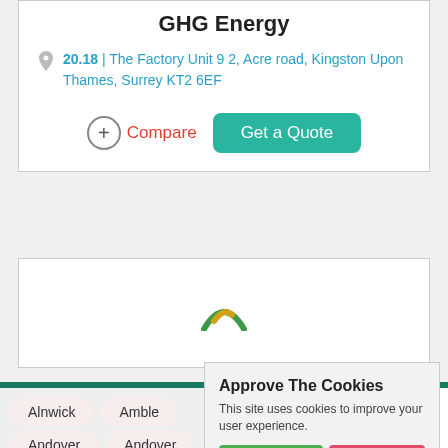GHG Energy
20.18 | The Factory Unit 9 2, Acre road, Kingston Upon Thames, Surrey KT2 6EF
Compare  Get a Quote
[Figure (illustration): Loading spinner icon - green and yellow arc]
Approve The Cookies
This site uses cookies to improve your user experience.
Accept  Decline
Cookie policy
Alnwick  Amble
Andover  Andover  Ashington